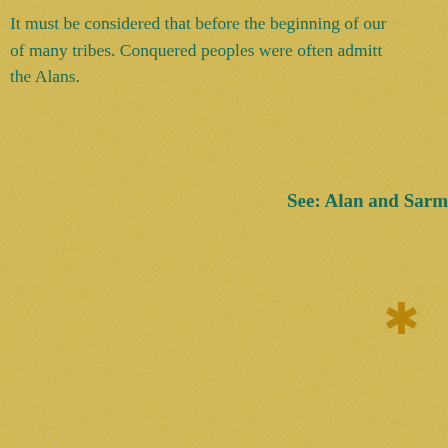It must be considered that before the beginning of our of many tribes. Conquered peoples were often admitt the Alans.
See: Alan and Sarm
*
To write this article, a number of recent and
HOME    Alans    Sarm